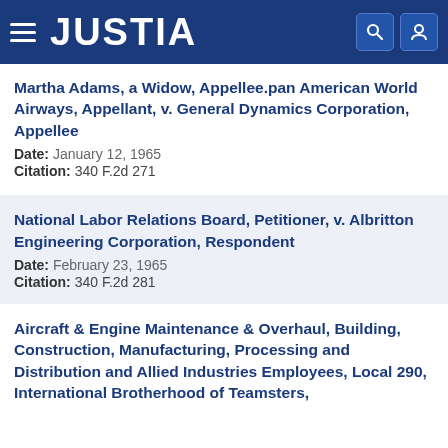JUSTIA
Martha Adams, a Widow, Appellee.pan American World Airways, Appellant, v. General Dynamics Corporation, Appellee
Date: January 12, 1965
Citation: 340 F.2d 271
National Labor Relations Board, Petitioner, v. Albritton Engineering Corporation, Respondent
Date: February 23, 1965
Citation: 340 F.2d 281
Aircraft & Engine Maintenance & Overhaul, Building, Construction, Manufacturing, Processing and Distribution and Allied Industries Employees, Local 290, International Brotherhood of Teamsters,